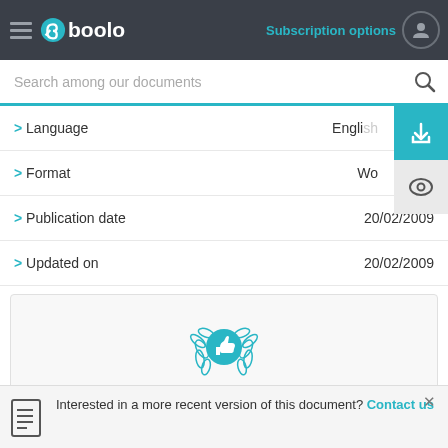Gboolo — Subscription options
Search among our documents
> Language    English
> Format    Wo...
> Publication date    20/02/2009
> Updated on    20/02/2009
[Figure (illustration): Thumbs up icon inside a laurel wreath, in blue]
Online reading
with our online reader
Interested in a more recent version of this document? Contact us